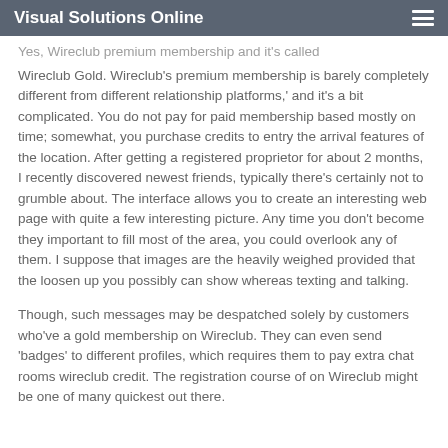Visual Solutions Online
Yes, Wireclub premium membership and it's called Wireclub Gold. Wireclub's premium membership is barely completely different from different relationship platforms,' and it's a bit complicated. You do not pay for paid membership based mostly on time; somewhat, you purchase credits to entry the arrival features of the location. After getting a registered proprietor for about 2 months, I recently discovered newest friends, typically there's certainly not to grumble about. The interface allows you to create an interesting web page with quite a few interesting picture. Any time you don't become they important to fill most of the area, you could overlook any of them. I suppose that images are the heavily weighed provided that the loosen up you possibly can show whereas texting and talking.
Though, such messages may be despatched solely by customers who've a gold membership on Wireclub. They can even send 'badges' to different profiles, which requires them to pay extra chat rooms wireclub credit. The registration course of on Wireclub might be one of many quickest out there.